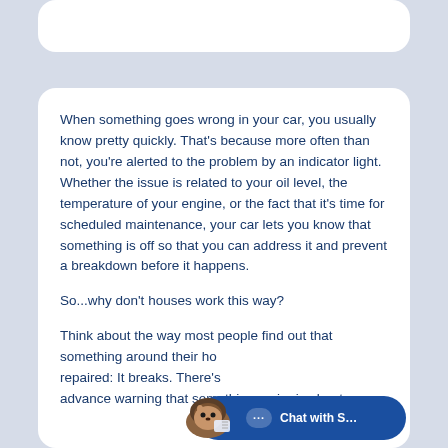When something goes wrong in your car, you usually know pretty quickly. That's because more often than not, you're alerted to the problem by an indicator light. Whether the issue is related to your oil level, the temperature of your engine, or the fact that it's time for scheduled maintenance, your car lets you know that something is off so that you can address it and prevent a breakdown before it happens.
So...why don't houses work this way?
Think about the way most people find out that something around their home needs to be repaired: It breaks. There's no advance warning that something major is about